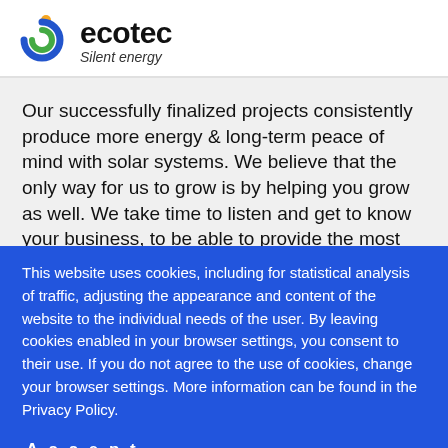[Figure (logo): Ecotec logo: stylized green-blue swirl with orange dot, beside bold text 'ecotec' and italic tagline 'Silent energy']
Our successfully finalized projects consistently produce more energy & long-term peace of mind with solar systems. We believe that the only way for us to grow is by helping you grow as well. We take time to listen and get to know your business, to be able to provide the most cost-efficient
This website uses cookies, including for statistical analysis of traffic, adjusting the appearance and content of the website to the individual needs of the user. By leaving cookies enabled in your browser settings, you consent to their use. If you do not agree to the use of cookies, change your browser settings. More information can be found in the Privacy Policy.
Accept